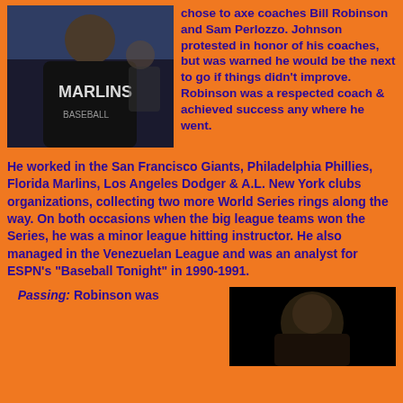[Figure (photo): Man wearing a Florida Marlins hoodie at what appears to be an indoor sporting event]
chose to axe coaches Bill Robinson and Sam Perlozzo. Johnson protested in honor of his coaches, but was warned he would be the next to go if things didn't improve. Robinson was a respected coach & achieved success any where he went.
He worked in the San Francisco Giants, Philadelphia Phillies, Florida Marlins, Los Angeles Dodger & A.L. New York clubs organizations, collecting two more World Series rings along the way. On both occasions when the big league teams won the Series, he was a minor league hitting instructor. He also managed in the Venezuelan League and was an analyst for ESPN's "Baseball Tonight" in 1990-1991.
Passing: Robinson was
[Figure (photo): Portrait photo of a person against dark background]